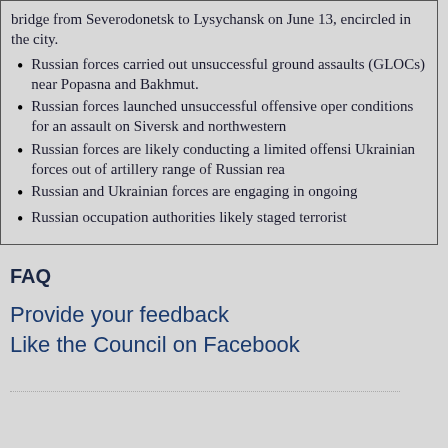bridge from Severodonetsk to Lysychansk on June 13, encircled in the city.
Russian forces carried out unsuccessful ground assaults (GLOCs) near Popasna and Bakhmut.
Russian forces launched unsuccessful offensive operations conditions for an assault on Siversk and northwestern
Russian forces are likely conducting a limited offensive Ukrainian forces out of artillery range of Russian rear
Russian and Ukrainian forces are engaging in ongoing
Russian occupation authorities likely staged terrorist
FAQ
Provide your feedback
Like the Council on Facebook